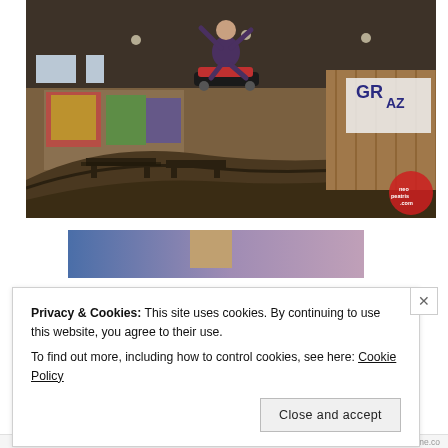[Figure (photo): Indoor skatepark photo showing a skateboarder performing a trick in the air above a ramp. The skater is airborne holding a skateboard, inside a large warehouse-style skatepark with graffiti on walls, wooden ramps, picnic tables, overhead lighting, and a banner visible in the background. A red watermark logo is visible in the bottom-right corner of the photo.]
[Figure (photo): Partial view of a second image showing a blue-to-purple gradient background with what appears to be a tan/brown rectangular shape in the center.]
Privacy & Cookies: This site uses cookies. By continuing to use this website, you agree to their use.
To find out more, including how to control cookies, see here: Cookie Policy
Close and accept